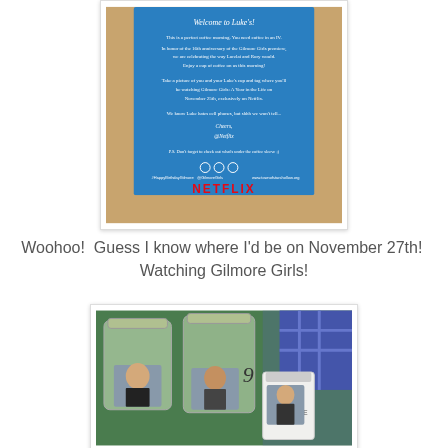[Figure (photo): A blue promotional card from Netflix for Gilmore Girls placed on a wooden table. The card reads 'Welcome to Luke's!' with text about the 16th anniversary of Gilmore Girls and a Netflix logo in red at the bottom. Social media handles visible at the bottom.]
Woohoo!  Guess I know where I'd be on November 27th!  Watching Gilmore Girls!
[Figure (photo): Mason jars containing photo cards of Gilmore Girls male characters (Dean, Jess, Logan) on a green table with a coffee cup visible.]